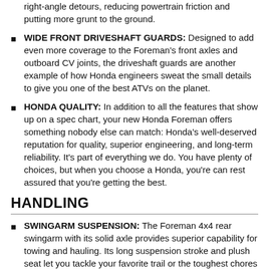right-angle detours, reducing powertrain friction and putting more grunt to the ground.
WIDE FRONT DRIVESHAFT GUARDS: Designed to add even more coverage to the Foreman's front axles and outboard CV joints, the driveshaft guards are another example of how Honda engineers sweat the small details to give you one of the best ATVs on the planet.
HONDA QUALITY: In addition to all the features that show up on a spec chart, your new Honda Foreman offers something nobody else can match: Honda's well-deserved reputation for quality, superior engineering, and long-term reliability. It's part of everything we do. You have plenty of choices, but when you choose a Honda, you're can rest assured that you're getting the best.
HANDLING
SWINGARM SUSPENSION: The Foreman 4x4 rear swingarm with its solid axle provides superior capability for towing and hauling. Its long suspension stroke and plush seat let you tackle your favorite trail or the toughest chores in comfort all day long.